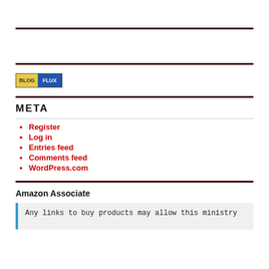[Figure (logo): BlogFlux badge/logo — yellow BLOG label next to blue FLUX label]
META
Register
Log in
Entries feed
Comments feed
WordPress.com
Amazon Associate
Any links to buy products may allow this ministry